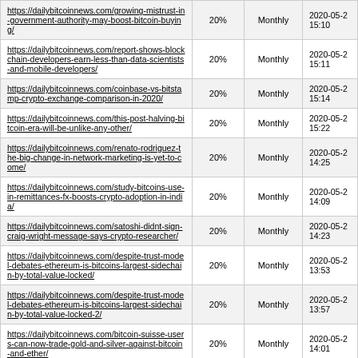| https://dailybitcoinnews.com/growing-mistrust-in-government-authority-may-boost-bitcoin-buying/ | 20% | Monthly | 2020-05-2 15:10 |
| https://dailybitcoinnews.com/report-shows-blockchain-developers-earn-less-than-data-scientists-and-mobile-developers/ | 20% | Monthly | 2020-05-2 15:11 |
| https://dailybitcoinnews.com/coinbase-vs-bitstamp-crypto-exchange-comparison-in-2020/ | 20% | Monthly | 2020-05-2 15:14 |
| https://dailybitcoinnews.com/this-post-halving-bitcoin-era-will-be-unlike-any-other/ | 20% | Monthly | 2020-05-2 15:22 |
| https://dailybitcoinnews.com/renato-rodriguez-the-big-change-in-network-marketing-is-yet-to-come/ | 20% | Monthly | 2020-05-2 14:25 |
| https://dailybitcoinnews.com/study-bitcoins-use-in-remittances-fx-boosts-crypto-adoption-in-india/ | 20% | Monthly | 2020-05-2 14:09 |
| https://dailybitcoinnews.com/satoshi-didnt-sign-craig-wright-message-says-crypto-researcher/ | 20% | Monthly | 2020-05-2 14:23 |
| https://dailybitcoinnews.com/despite-trust-model-debates-ethereum-is-bitcoins-largest-sidechain-by-total-value-locked/ | 20% | Monthly | 2020-05-2 13:53 |
| https://dailybitcoinnews.com/despite-trust-model-debates-ethereum-is-bitcoins-largest-sidechain-by-total-value-locked-2/ | 20% | Monthly | 2020-05-2 13:57 |
| https://dailybitcoinnews.com/bitcoin-suisse-users-can-now-trade-gold-and-silver-against-bitcoin-and-ether/ | 20% | Monthly | 2020-05-2 14:01 |